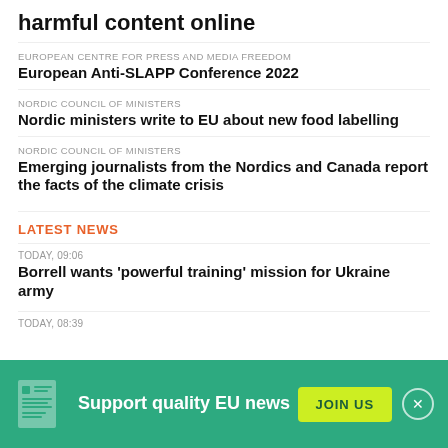harmful content online
EUROPEAN CENTRE FOR PRESS AND MEDIA FREEDOM
European Anti-SLAPP Conference 2022
NORDIC COUNCIL OF MINISTERS
Nordic ministers write to EU about new food labelling
NORDIC COUNCIL OF MINISTERS
Emerging journalists from the Nordics and Canada report the facts of the climate crisis
LATEST NEWS
TODAY, 09:06
Borrell wants 'powerful training' mission for Ukraine army
TODAY, 08:39
Support quality EU news
JOIN US